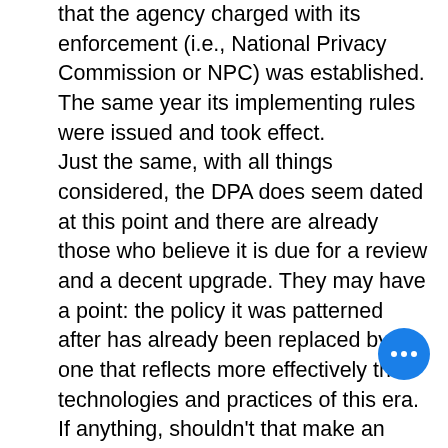that the agency charged with its enforcement (i.e., National Privacy Commission or NPC) was established. The same year its implementing rules were issued and took effect. Just the same, with all things considered, the DPA does seem dated at this point and there are already those who believe it is due for a review and a decent upgrade. They may have a point: the policy it was patterned after has already been replaced by one that reflects more effectively the technologies and practices of this era. If anything, shouldn't that make an amendment of the DPA a logical recourse on our end?

To be certain, one thing we can do is